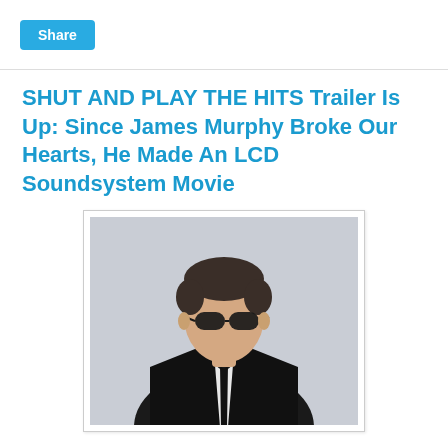Share
SHUT AND PLAY THE HITS Trailer Is Up: Since James Murphy Broke Our Hearts, He Made An LCD Soundsystem Movie
[Figure (photo): A man wearing dark aviator sunglasses and a black leather jacket with a dark tie, leaning forward slightly against a light grey background. This appears to be James Murphy, front man of LCD Soundsystem.]
Javi here. Back a couple of years when LCD Soundsystem front man announced James Murphy that the band was done, I was